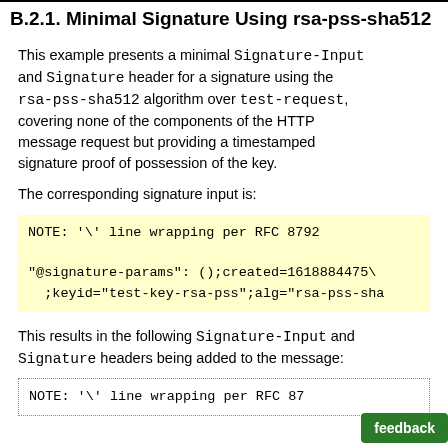B.2.1. Minimal Signature Using rsa-pss-sha512
This example presents a minimal Signature-Input and Signature header for a signature using the rsa-pss-sha512 algorithm over test-request, covering none of the components of the HTTP message request but providing a timestamped signature proof of possession of the key.
The corresponding signature input is:
NOTE: '\' line wrapping per RFC 8792

"@signature-params": ();created=1618884475\
  ;keyid="test-key-rsa-pss";alg="rsa-pss-sha
This results in the following Signature-Input and Signature headers being added to the message:
NOTE: '\' line wrapping per RFC 87